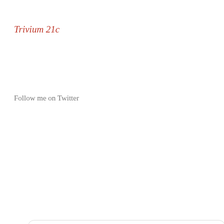Trivium 21c
Follow me on Twitter
[Figure (screenshot): Twitter widget showing tweets from @Trivium21c with a Follow button, a tweet by Martin Robinson @Trivium21c 22m saying 'I had a lovely time this morning at Warminster school looking at curriculum cohesion and organisation', and a quoted tweet from Mark Sully @marksully9 4h saying 'Very grateful to @Trivium21c for travelling to Wiltshire to visit us']